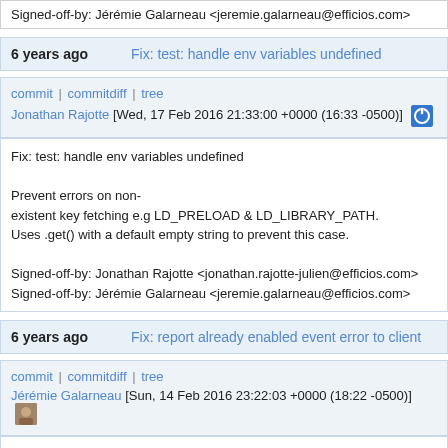Signed-off-by: Jérémie Galarneau <jeremie.galarneau@efficios.com>
6 years ago   Fix: test: handle env variables undefined
commit | commitdiff | tree
Jonathan Rajotte [Wed, 17 Feb 2016 21:33:00 +0000 (16:33 -0500)]
Fix: test: handle env variables undefined

Prevent errors on non-existent key fetching e.g LD_PRELOAD & LD_LIBRARY_PATH.
Uses .get() with a default empty string to prevent this case.

Signed-off-by: Jonathan Rajotte <jonathan.rajotte-julien@efficios.com>
Signed-off-by: Jérémie Galarneau <jeremie.galarneau@efficios.com>
6 years ago   Fix: report already enabled event error to client
commit | commitdiff | tree
Jérémie Galarneau [Sun, 14 Feb 2016 23:22:03 +0000 (18:22 -0500)]
Fix: report already enabled event error to client